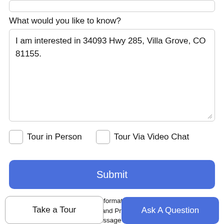What would you like to know?
I am interested in 34093 Hwy 285, Villa Grove, CO 81155.
Tour in Person
Tour Via Video Chat
Submit
Disclaimer: By entering your information and submitting this form, you agree to our Terms of Use and Privacy Policy and that you may be contacted by phone, text message and email about your inquiry.
Take a Tour
Ask A Question